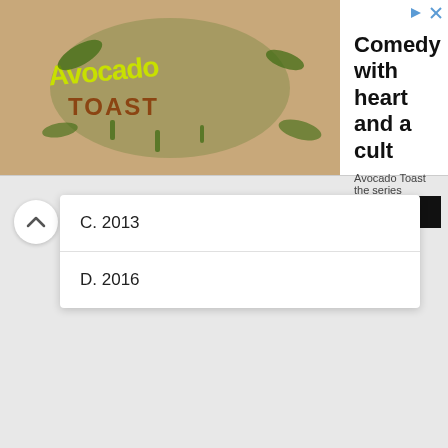[Figure (illustration): Avocado Toast the series logo on tan/brown background with green illustrated text]
Comedy with heart and a cult
Avocado Toast the series
Open
C. 2013
D. 2016